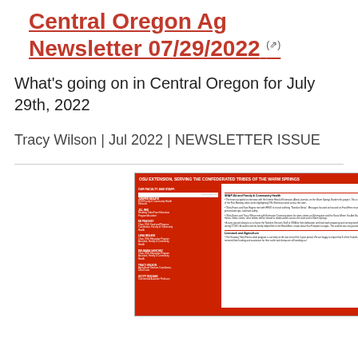Central Oregon Ag Newsletter 07/29/2022
What's going on in Central Oregon for July 29th, 2022
Tracy Wilson | Jul 2022 | NEWSLETTER ISSUE
[Figure (screenshot): Thumbnail image of OSU Extension newsletter serving the Confederated Tribes of the Warm Springs, showing faculty and staff list on red background on the left, and SNAP-Ed and Family & Community Health and Livestock and Agriculture sections on the right.]